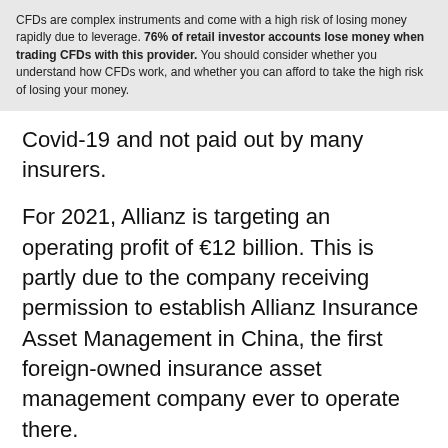CFDs are complex instruments and come with a high risk of losing money rapidly due to leverage. 76% of retail investor accounts lose money when trading CFDs with this provider. You should consider whether you understand how CFDs work, and whether you can afford to take the high risk of losing your money.
Covid-19 and not paid out by many insurers.
For 2021, Allianz is targeting an operating profit of €12 billion. This is partly due to the company receiving permission to establish Allianz Insurance Asset Management in China, the first foreign-owned insurance asset management company ever to operate there.
Trade Allianz shares
3 Ping An
Ping An